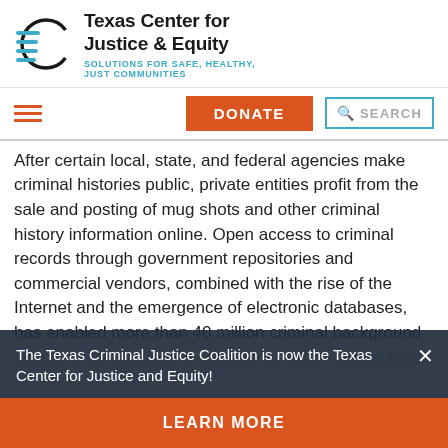[Figure (logo): Texas Center for Justice & Equity logo with circular icon and horizontal lines]
Texas Center for Justice & Equity
SOLUTIONS FOR SAFE, HEALTHY, JUST COMMUNITIES
DONATE | SEARCH navigation bar
After certain local, state, and federal agencies make criminal histories public, private entities profit from the sale and posting of mug shots and other criminal history information online. Open access to criminal records through government repositories and commercial vendors, combined with the rise of the Internet and the emergence of electronic databases, has enabled more than 40 million criminal background checks to be conducted annually on some justice purpose
The Texas Criminal Justice Coalition is now the Texas Center for Justice and Equity!
LEARN MORE